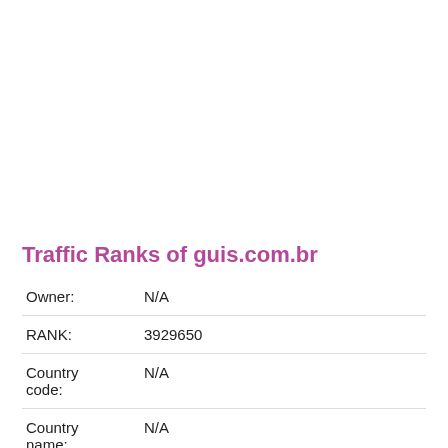Traffic Ranks of guis.com.br
| Owner: | N/A |
| RANK: | 3929650 |
| Country code: | N/A |
| Country name: | N/A |